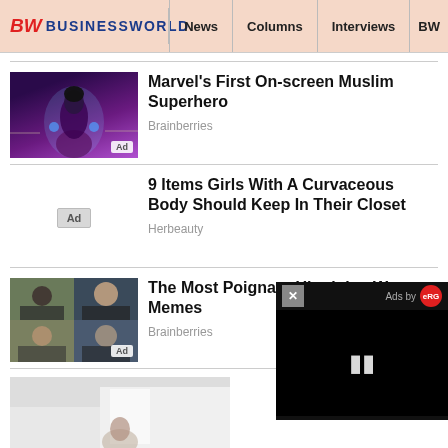BW BUSINESSWORLD | News | Columns | Interviews | BW
[Figure (screenshot): Advertisement thumbnail: Marvel superhero figure with purple/blue glowing background]
Marvel's First On-screen Muslim Superhero
Brainberries
9 Items Girls With A Curvaceous Body Should Keep In Their Closet
Herbeauty
[Figure (screenshot): Advertisement thumbnail: War memes grid with four images of people]
The Most Poignant Ukrainian War Memes
Brainberries
[Figure (screenshot): Bottom partial image: person in light-colored room]
[Figure (screenshot): Video overlay panel with black screen showing pause button and Ads by eRG branding]